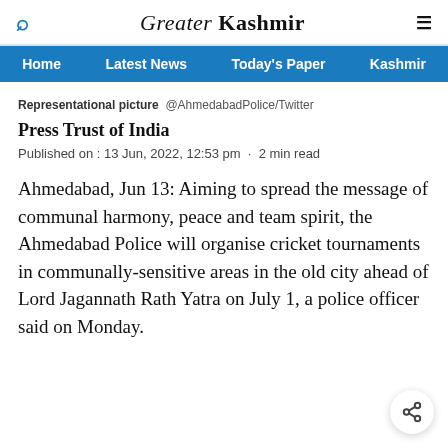Greater Kashmir
Representational picture   @AhmedabadPolice/Twitter
Press Trust of India
Published on : 13 Jun, 2022, 12:53 pm  ·  2 min read
Ahmedabad, Jun 13: Aiming to spread the message of communal harmony, peace and team spirit, the Ahmedabad Police will organise cricket tournaments in communally-sensitive areas in the old city ahead of Lord Jagannath Rath Yatra on July 1, a police officer said on Monday.